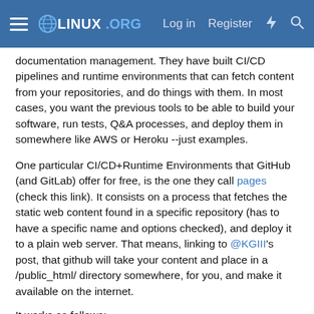LINUX.ORG — Log in  Register
documentation management. They have built CI/CD pipelines and runtime environments that can fetch content from your repositories, and do things with them. In most cases, you want the previous tools to be able to build your software, run tests, Q&A processes, and deploy them in somewhere like AWS or Heroku --just examples.
One particular CI/CD+Runtime Environments that GitHub (and GitLab) offer for free, is the one they call pages (check this link). It consists on a process that fetches the static web content found in a specific repository (has to have a specific name and options checked), and deploy it to a plain web server. That means, linking to @KGIII's post, that github will take your content and place in a /public_html/ directory somewhere, for you, and make it available on the internet.
It works as follows:
You create a github repository a name consisting in your username dot github.io (e.g.: gvisoc.github.io)